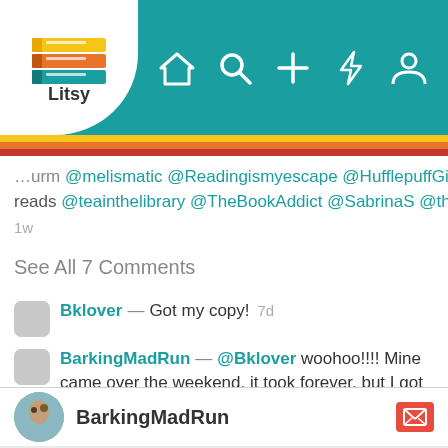[Figure (screenshot): Litsy app logo — stacked colorful books with 'Litsy' text below, on white circle background]
Litsy app navigation bar with home, search, add, notification, and profile icons
...urm @melismatic @Readingismyescape @HufflepuffGirl9... reads @teainthelibrary @TheBookAddict @SabrinaS @thereadin...
1w
See All 7 Comments
Bklover — Got my copy!   7d
BarkingMadRun — @Bklover woohoo!!!! Mine came over the weekend, it took forever, but I got it used, which was a bonus
6d
21 likes    7 comments
BarkingMadRun